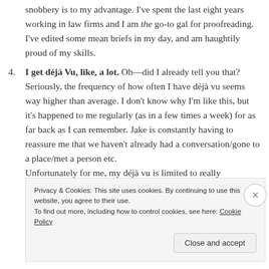snobbery is to my advantage. I've spent the last eight years working in law firms and I am the go-to gal for proofreading. I've edited some mean briefs in my day, and am haughtily proud of my skills.
4. I get déjà Vu, like, a lot. Oh—did I already tell you that? Seriously, the frequency of how often I have déjà vu seems way higher than average. I don't know why I'm like this, but it's happened to me regularly (as in a few times a week) for as far back as I can remember. Jake is constantly having to reassure me that we haven't already had a conversation/gone to a place/met a person etc.
Unfortunately for me, my déjà vu is limited to really
Privacy & Cookies: This site uses cookies. By continuing to use this website, you agree to their use.
To find out more, including how to control cookies, see here: Cookie Policy